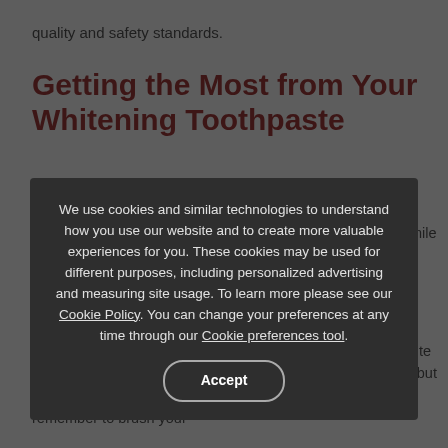quality and safety standards.
Getting the Most from Your Whitening Toothpaste
If you drink coffee and red wine, or if you smoke or chew tobacco, looking at that same face to get the bright, white smile you were hoping for. To get the most out of your whitening toothpaste, limit your exposure to these stain-causing substances.
Even healthy options like blueberries and beets can contribute to staining. Of course, we don't recommend avoiding these, but you should drink lots of water alongside your meals and remember to brush your
We use cookies and similar technologies to understand how you use our website and to create more valuable experiences for you. These cookies may be used for different purposes, including personalized advertising and measuring site usage. To learn more please see our Cookie Policy. You can change your preferences at any time through our Cookie preferences tool.